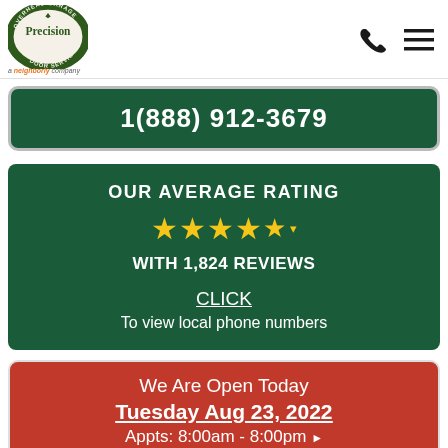[Figure (logo): Precision Door Service logo — circular badge with company name and 'a Neighborly company' text below]
1(888) 912-3679
OUR AVERAGE RATING
★★★★★ (4.5)
WITH 1,824 REVIEWS
CLICK
To view local phone numbers
We Are Open Today
Tuesday Aug 23, 2022
Appts: 8:00am - 8:00pm